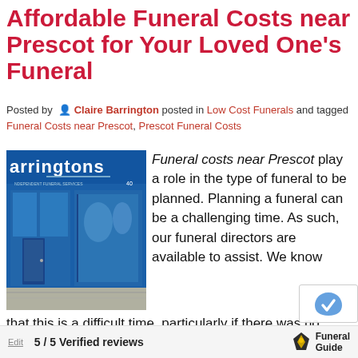Affordable Funeral Costs near Prescot for Your Loved One's Funeral
Posted by Claire Barrington posted in Low Cost Funerals and tagged Funeral Costs near Prescot, Prescot Funeral Costs
[Figure (photo): Exterior photo of Barringtons Independent Funeral Services storefront with blue facade]
Funeral costs near Prescot play a role in the type of funeral to be planned. Planning a funeral can be a challenging time. As such, our funeral directors are available to assist. We know that this is a difficult time, particularly if there was no provision made for the funeral. Thus, we offer a tailored and bespoke service to enable you to
5 / 5 Verified reviews | Funeral Guide